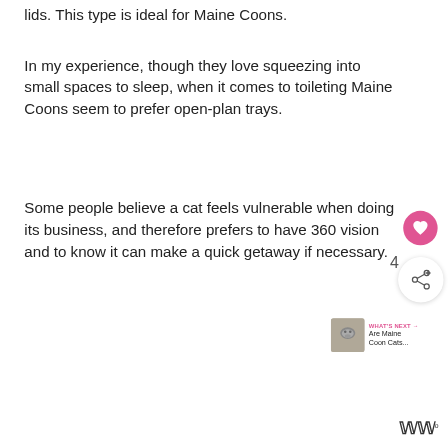lids. This type is ideal for Maine Coons.
In my experience, though they love squeezing into small spaces to sleep, when it comes to toileting Maine Coons seem to prefer open-plan trays.
Some people believe a cat feels vulnerable when doing its business, and therefore prefers to have 360 vision and to know it can make a quick getaway if necessary.
[Figure (infographic): Heart/like button (pink circle with heart icon), share button (white circle with share icon), count '4', 'WHAT'S NEXT' label with arrow and text 'Are Maine Coon Cats...' with a cat thumbnail image, and a 'WW' logo at bottom right.]